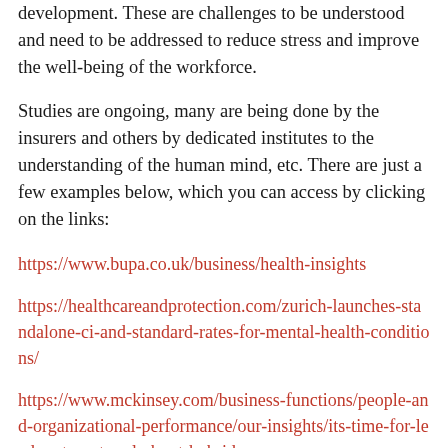development. These are challenges to be understood and need to be addressed to reduce stress and improve the well-being of the workforce.
Studies are ongoing, many are being done by the insurers and others by dedicated institutes to the understanding of the human mind, etc. There are just a few examples below, which you can access by clicking on the links:
https://www.bupa.co.uk/business/health-insights
https://healthcareandprotection.com/zurich-launches-standalone-ci-and-standard-rates-for-mental-health-conditions/
https://www.mckinsey.com/business-functions/people-and-organizational-performance/our-insights/its-time-for-leaders-to-get-real-about-hybrid
https://www.axa.com/en/press/being-mind-healthy?